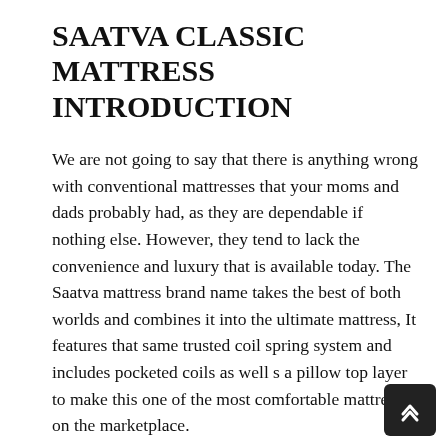SAATVA CLASSIC MATTRESS INTRODUCTION
We are not going to say that there is anything wrong with conventional mattresses that your moms and dads probably had, as they are dependable if nothing else. However, they tend to lack the convenience and luxury that is available today. The Saatva mattress brand name takes the best of both worlds and combines it into the ultimate mattress, It features that same trusted coil spring system and includes pocketed coils as well s a pillow top layer to make this one of the most comfortable mattresses on the marketplace.
This mix has actually genuinely paid off for Saatva it is now called a premium online mattress brands